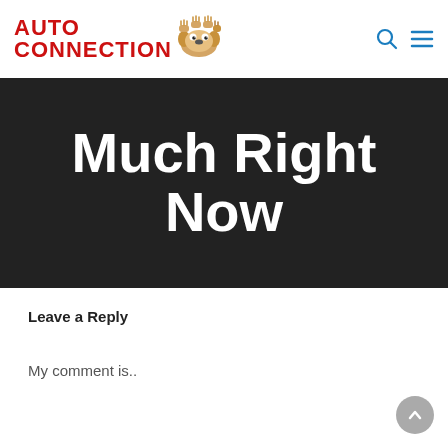AUTO CONNECTION [logo with dog]
Much Right Now
Leave a Reply
My comment is..